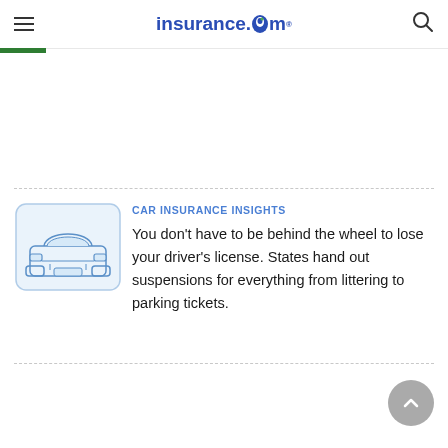insurance.com
[Figure (illustration): Blue outline illustration of a car (front view) inside a light blue rounded rectangle]
CAR INSURANCE INSIGHTS
You don't have to be behind the wheel to lose your driver's license. States hand out suspensions for everything from littering to parking tickets.